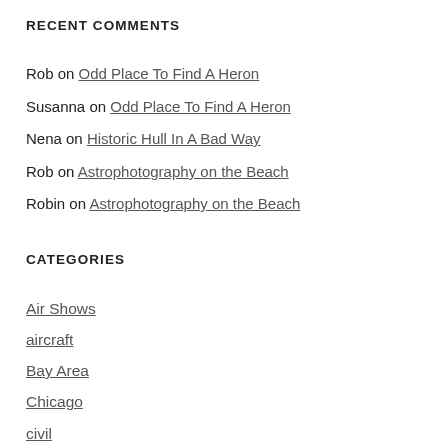RECENT COMMENTS
Rob on Odd Place To Find A Heron
Susanna on Odd Place To Find A Heron
Nena on Historic Hull In A Bad Way
Rob on Astrophotography on the Beach
Robin on Astrophotography on the Beach
CATEGORIES
Air Shows
aircraft
Bay Area
Chicago
civil
corporate
equipment
military